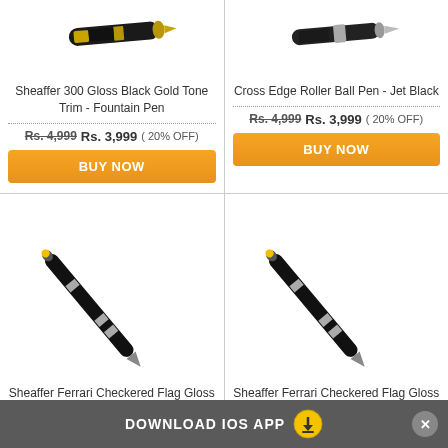[Figure (photo): Sheaffer 300 Gloss Black Gold Tone Trim Fountain Pen - top portion visible]
[Figure (photo): Cross Edge Roller Ball Pen Jet Black - top portion visible]
Sheaffer 300 Gloss Black Gold Tone Trim - Fountain Pen
Cross Edge Roller Ball Pen - Jet Black
Rs. 4,999 Rs. 3,999  ( 20% OFF)
Rs. 4,999 Rs. 3,999  ( 20% OFF)
BUY NOW
BUY NOW
[Figure (photo): Sheaffer Ferrari Checkered Flag Gloss Black Ball Pen with MR.SMITH engraving]
[Figure (photo): Sheaffer Ferrari Checkered Flag Gloss Black Roller Ball Pen with Sardio Marre engraving]
Sheaffer Ferrari Checkered Flag Gloss Black - Ball Pen
Sheaffer Ferrari Checkered Flag Gloss Black - Roller Ball Pen
DOWNLOAD IOS APP